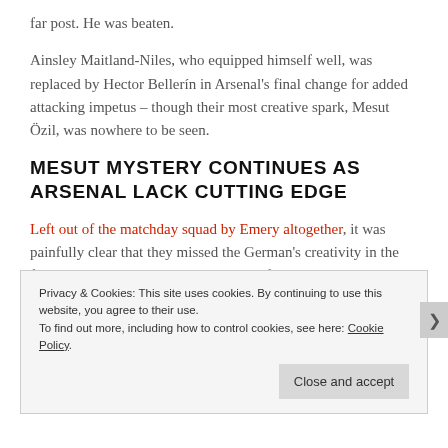far post. He was beaten.
Ainsley Maitland-Niles, who equipped himself well, was replaced by Hector Bellerín in Arsenal's final change for added attacking impetus – though their most creative spark, Mesut Özil, was nowhere to be seen.
MESUT MYSTERY CONTINUES AS ARSENAL LACK CUTTING EDGE
Left out of the matchday squad by Emery altogether, it was painfully clear that they missed the German's creativity in the final third and instead, we saw plenty of sloppy play
Privacy & Cookies: This site uses cookies. By continuing to use this website, you agree to their use. To find out more, including how to control cookies, see here: Cookie Policy
Close and accept